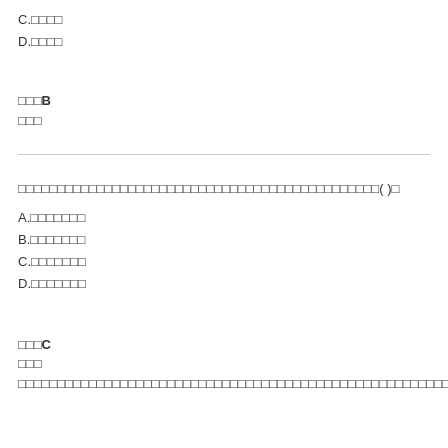C.□□□□
D.□□□□
□□□B
□□□
□□□□□□□□□□□□□□□□□□□□□□□□□□□□□□□□□□□□□□□□□□□□□□( )□
A.□□□□□□□
B.□□□□□□□
C.□□□□□□□
D.□□□□□□□
□□□C
□□□
□□□□□□□□□□□□□□□□□□□□□□□□□□□□□□□□□□□□□□□□□□□□□□□□□□□□□□□□□□□□□□□□□□□□□□□□□□□□□□□□□□□□□□□□□□□□□□□□□□□□□□□□□□□□□□□□□□□□□□□□□□□□□□□□□□□□□□□